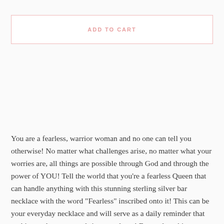ADD TO CART
You are a fearless, warrior woman and no one can tell you otherwise! No matter what challenges arise, no matter what your worries are, all things are possible through God and through the power of YOU! Tell the world that you're a fearless Queen that can handle anything with this stunning sterling silver bar necklace with the word "Fearless" inscribed onto it! This can be your everyday necklace and will serve as a daily reminder that nothing and no one can bring you down! Even when things seem dicey, you have the strength of the Lord on